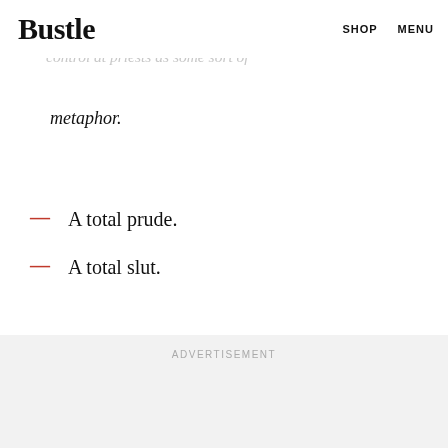Bustle | SHOP  MENU
female pope girl, this wants to imitate Crying and Catholicism ruined my life and she's flaming birth control at priests as some sort of metaphor.
A total prude.
A total slut.
ADVERTISEMENT